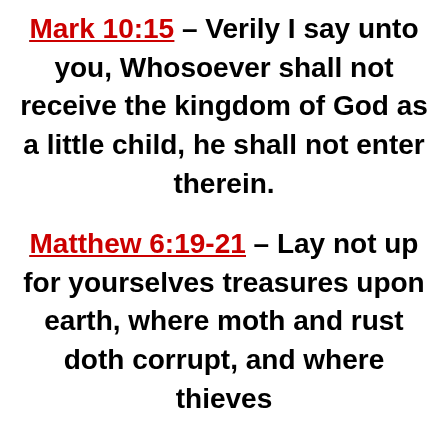Mark 10:15 – Verily I say unto you, Whosoever shall not receive the kingdom of God as a little child, he shall not enter therein.
Matthew 6:19-21 – Lay not up for yourselves treasures upon earth, where moth and rust doth corrupt, and where thieves